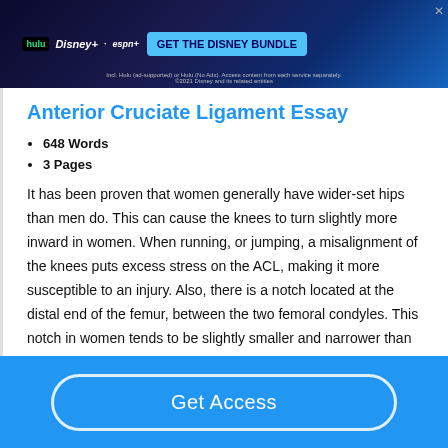[Figure (screenshot): Disney Bundle advertisement banner with Hulu, Disney+, and ESPN+ logos and 'GET THE DISNEY BUNDLE' call to action button]
Anterior Cruciate Ligament Essay
648 Words
3 Pages
It has been proven that women generally have wider-set hips than men do. This can cause the knees to turn slightly more inward in women. When running, or jumping, a misalignment of the knees puts excess stress on the ACL, making it more susceptible to an injury. Also, there is a notch located at the distal end of the femur, between the two femoral condyles. This notch in women tends to be slightly smaller and narrower than men, which may
Get Access